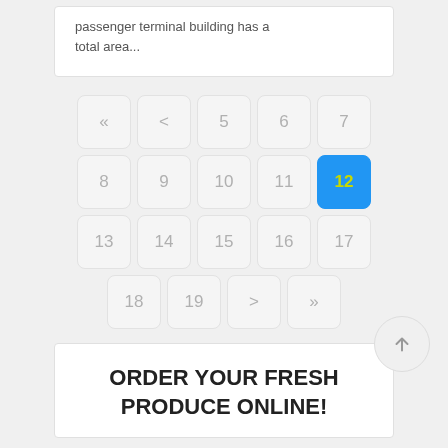passenger terminal building has a total area...
[Figure (other): Pagination widget showing page buttons: «, <, 5, 6, 7, 8, 9, 10, 11, 12 (active/selected), 13, 14, 15, 16, 17, 18, 19, >, »]
ORDER YOUR FRESH PRODUCE ONLINE!